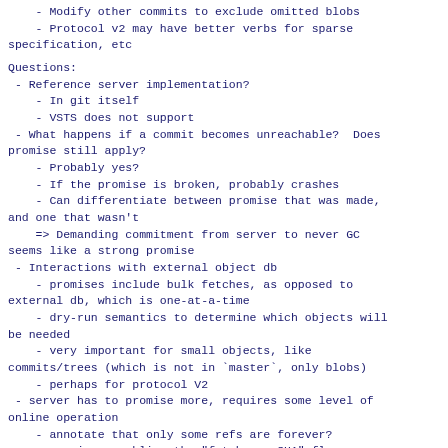- Modify other commits to exclude omitted blobs
- Protocol v2 may have better verbs for sparse specification, etc
Questions:
- Reference server implementation?
- In git itself
- VSTS does not support
- What happens if a commit becomes unreachable?  Does promise still apply?
- Probably yes?
- If the promise is broken, probably crashes
- Can differentiate between promise that was made, and one that wasn't
=> Demanding commitment from server to never GC seems like a strong promise
- Interactions with external object db
- promises include bulk fetches, as opposed to external db, which is one-at-a-time
- dry-run semantics to determine which objects will be needed
- very important for small objects, like commits/trees (which is not in `master`, only blobs)
- perhaps for protocol V2
- server has to promise more, requires some level of online operation
- annotate that only some refs are forever?
- requires enabling the "fetch any SHA" flags
- rebasing might require now-missing objects?
- No, to build on them you must have fetched them